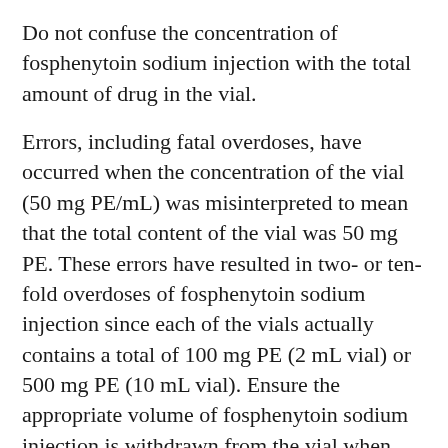Do not confuse the concentration of fosphenytoin sodium injection with the total amount of drug in the vial.
Errors, including fatal overdoses, have occurred when the concentration of the vial (50 mg PE/mL) was misinterpreted to mean that the total content of the vial was 50 mg PE. These errors have resulted in two- or ten-fold overdoses of fosphenytoin sodium injection since each of the vials actually contains a total of 100 mg PE (2 mL vial) or 500 mg PE (10 mL vial). Ensure the appropriate volume of fosphenytoin sodium injection is withdrawn from the vial when preparing the dose for administration. Attention to these details may